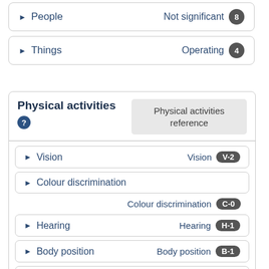▶ People — Not significant 8
▶ Things — Operating 4
Physical activities
Physical activities reference
▶ Vision — Vision V-2
▶ Colour discrimination — Colour discrimination C-0
▶ Hearing — Hearing H-1
▶ Body position — Body position B-1
▶ Limb co-ordination — Limb co-ordination L-1
▶ Strength — Strength S-1